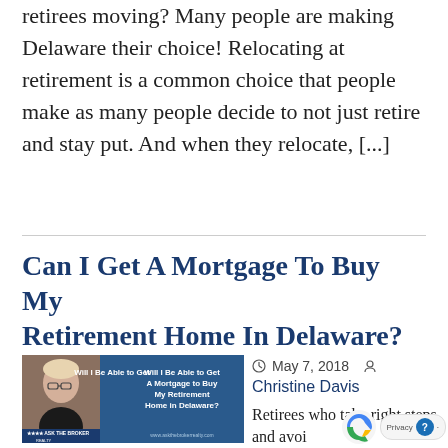retirees moving? Many people are making Delaware their choice! Relocating at retirement is a common choice that people make as many people decide to not just retire and stay put. And when they relocate, [...]
Can I Get A Mortgage To Buy My Retirement Home In Delaware?
[Figure (photo): Blog post thumbnail showing a woman with short blonde hair and glasses, with text overlay reading 'Will I Be Able to Get A Mortgage to Buy My Retirement Home in Delaware?' on a blue background with 'ASK THE BROKER REALTY' banner at bottom]
May 7, 2018  Christine Davis  Retirees who take right steps and avoid